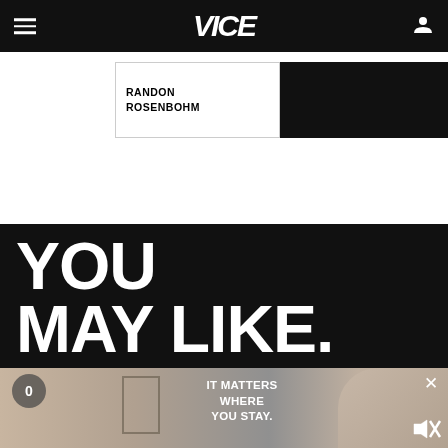VICE
RANDON ROSENBOHM
YOU MAY LIKE.
[Figure (screenshot): Advertisement overlay showing hotel room with text IT MATTERS WHERE YOU STAY.]